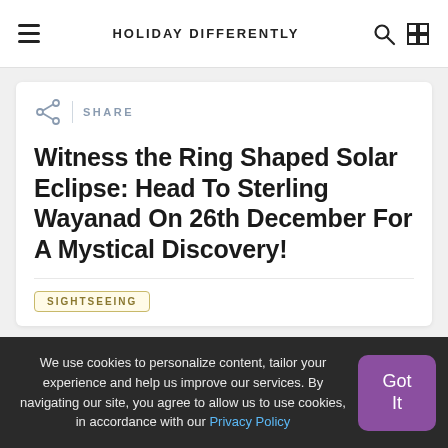HOLIDAY DIFFERENTLY
Witness the Ring Shaped Solar Eclipse: Head To Sterling Wayanad On 26th December For A Mystical Discovery!
SIGHTSEEING
We use cookies to personalize content, tailor your experience and help us improve our services. By navigating our site, you agree to allow us to use cookies, in accordance with our Privacy Policy